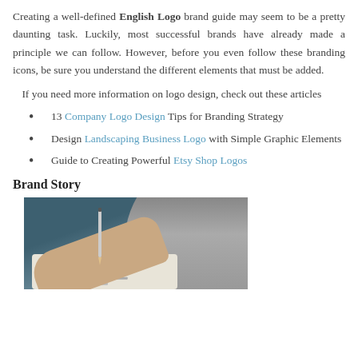Creating a well-defined English Logo brand guide may seem to be a pretty daunting task. Luckily, most successful brands have already made a principle we can follow. However, before you even follow these branding icons, be sure you understand the different elements that must be added.
If you need more information on logo design, check out these articles
13 Company Logo Design Tips for Branding Strategy
Design Landscaping Business Logo with Simple Graphic Elements
Guide to Creating Powerful Etsy Shop Logos
Brand Story
[Figure (photo): A person writing/sketching in a notebook, shown from above. The person wears a grey top and is seated against a teal/dark blue background.]